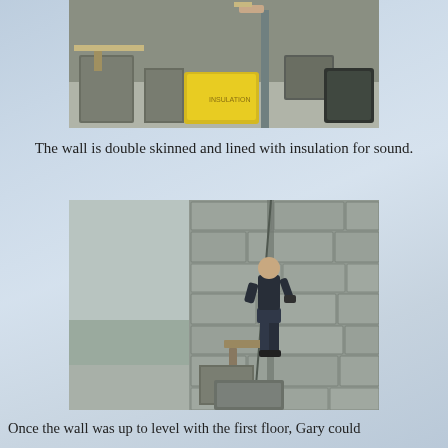[Figure (photo): Construction site interior showing concrete blocks, insulation materials (yellow bags), scaffolding poles, and building equipment on a concrete floor.]
The wall is double skinned and lined with insulation for sound.
[Figure (photo): A man in dark clothes standing on scaffolding/blocks, plastering or working on a large stone/concrete block wall inside a building under construction.]
Once the wall was up to level with the first floor, Gary could